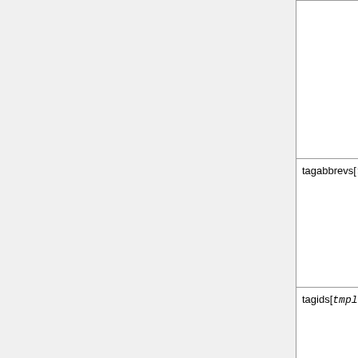| Property | Description |
| --- | --- |
|  | more than one. A the template will r

Example: result = this.tagnames[We |
| tagabbrevs[tmpl,spl] | (Right, String) Wo "tagnames", excep string is comprise all matching tags i

Example: result = this.tagabbrevs[W |
| tagids[tmpl,spl] | (Right, String) Wo "tagnames", excep string is comprise matching tags ins

Example: result = |
| prereqok | (Right, Number) R satisfies all of its p used during evalu

Example: result = |
| prereqnum | (Right, Number) R pre-requisite rules |